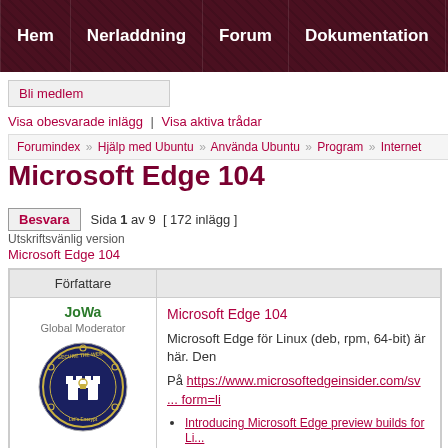Hem | Nerladdning | Forum | Dokumentation | Bloggar | Cha
Bli medlem
Visa obesvarade inlägg | Visa aktiva trådar
Forumindex » Hjälp med Ubuntu » Använda Ubuntu » Program » Internet
Microsoft Edge 104
Besvara  Sida 1 av 9  [ 172 inlägg ]
Utskriftsvänlig version
Microsoft Edge 104
| Författare |  |
| --- | --- |
| JoWa
Global Moderator
[avatar] | Microsoft Edge 104
Microsoft Edge för Linux (deb, rpm, 64-bit) är här. Den

På https://www.microsoftedgeinsider.com/sv ... form=li

• Introducing Microsoft Edge preview builds for Li...
• Dev channel update to 88.0.673.0 is live |